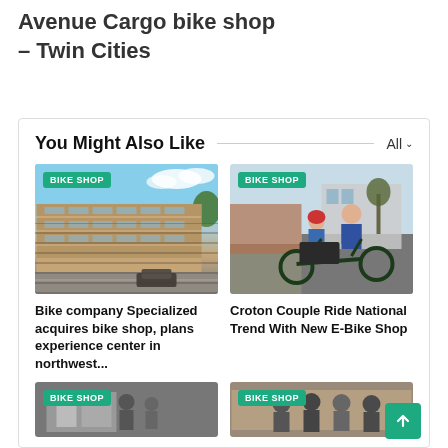Avenue Cargo bike shop – Twin Cities
You Might Also Like
[Figure (photo): Photo of a modern multi-story building with glass facade, with BIKE SHOP badge overlay]
Bike company Specialized acquires bike shop, plans experience center in northwest...
[Figure (photo): Photo of a man on a cargo e-bike with a child sitting in front, on a sidewalk, with BIKE SHOP badge overlay]
Croton Couple Ride National Trend With New E-Bike Shop
[Figure (photo): Partial photo of a bike shop storefront with BIKE SHOP badge overlay]
[Figure (photo): Partial photo of people outside a bike shop with BIKE SHOP badge overlay]